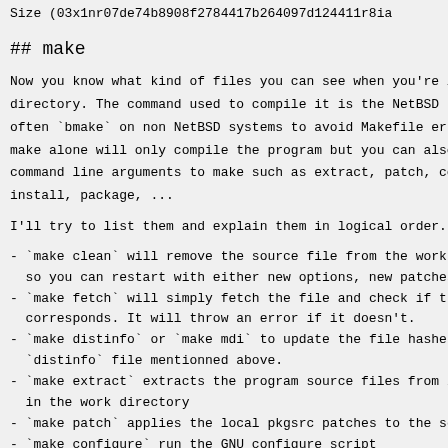Size (03x1nr07de74b8908f2784417b264097d124411r8ia
## make
Now you know what kind of files you can see when you're i directory. The command used to compile it is the NetBSD often `bmake` on non NetBSD systems to avoid Makefile err make alone will only compile the program but you can also command line arguments to make such as extract, patch, co install, package, ...
I'll try to list them and explain them in logical order.
- `make clean` will remove the source file from the work so you can restart with either new options, new patches
- `make fetch` will simply fetch the file and check if th corresponds. It will throw an error if it doesn't.
- `make distinfo` or `make mdi` to update the file hashes `distinfo` file mentionned above.
- `make extract` extracts the program source files from i in the work directory
- `make patch` applies the local pkgsrc patches to the so
- `make configure` run the GNU configure script
- `make` or `make build` or `make all` will stop after th is compiled
- `make stage-install` will install in the port destdir, pkgsrc first installs program files to check if the fi with the `PLIST` contents before installing to your pre `wget`, if you have a default WRKOBJDIR (I'll explain - program files will first be installed in